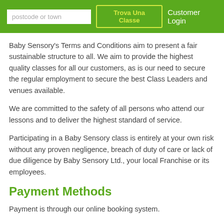postcode or town  Trova Una Classe  Customer Login
Baby Sensory's Terms and Conditions aim to present a fair sustainable structure to all. We aim to provide the highest quality classes for all our customers, as is our need to secure the regular employment to secure the best Class Leaders and venues available.
We are committed to the safety of all persons who attend our lessons and to deliver the highest standard of service.
Participating in a Baby Sensory class is entirely at your own risk without any proven negligence, breach of duty of care or lack of due diligence by Baby Sensory Ltd., your local Franchise or its employees.
Payment Methods
Payment is through our online booking system.